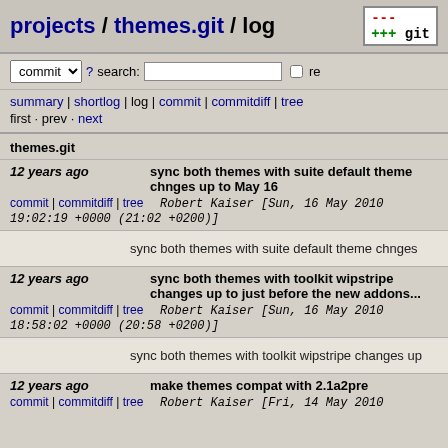projects / themes.git / log
commit search: re
summary | shortlog | log | commit | commitdiff | tree
first · prev · next
themes.git
12 years ago    sync both themes with suite default theme chnges up to May 16
commit | commitdiff | tree    Robert Kaiser [Sun, 16 May 2010 19:02:19 +0000 (21:02 +0200)]
sync both themes with suite default theme chnges
12 years ago    sync both themes with toolkit wipstripe changes up to just before the new addons...
commit | commitdiff | tree    Robert Kaiser [Sun, 16 May 2010 18:58:02 +0000 (20:58 +0200)]
sync both themes with toolkit wipstripe changes up
12 years ago    make themes compat with 2.1a2pre
commit | commitdiff | tree    Robert Kaiser [Fri, 14 May 2010